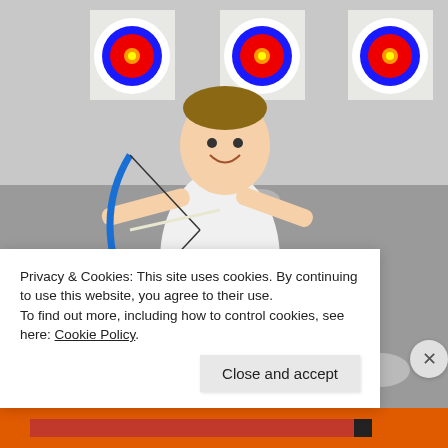[Figure (photo): A young boy in a white and black splatter-patterned t-shirt and black shorts is holding a blue recurve bow in an archery range. He is smiling and posed as if drawing the bow. In the background are multiple archery targets with yellow, red, and black rings. In the foreground are black cylindrical quivers, numbered 3 and 4, with arrows in them. The floor is a smooth grey surface with white dot markings.]
Privacy & Cookies: This site uses cookies. By continuing to use this website, you agree to their use.
To find out more, including how to control cookies, see here: Cookie Policy